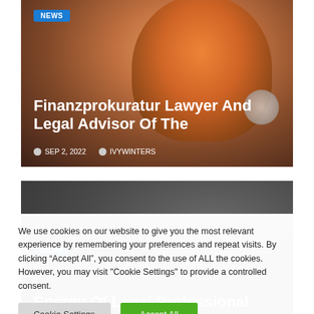[Figure (photo): News card with soccer player wearing orange jersey, dark gradient overlay. Blue NEWS badge top-left.]
Finanzprokuratur Lawyer And Legal Advisor Of The
SEP 2, 2022   IVYWINTERS
[Figure (photo): News card with dark grey background. Blue NEWS badge. Partial title visible.]
Energy Of Legal Professional
We use cookies on our website to give you the most relevant experience by remembering your preferences and repeat visits. By clicking “Accept All”, you consent to the use of ALL the cookies. However, you may visit "Cookie Settings" to provide a controlled consent.
Cookie Settings   Accept All